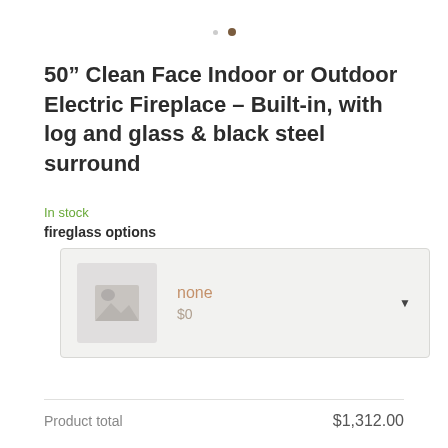[Figure (other): Two navigation dots, one small gray and one larger brown/active dot indicating image carousel position]
50" Clean Face Indoor or Outdoor Electric Fireplace – Built-in, with log and glass & black steel surround
In stock
fireglass options
[Figure (screenshot): Dropdown selector showing 'none' option with placeholder image thumbnail and price of $0]
| Product total | $1,312.00 |
| --- | --- |